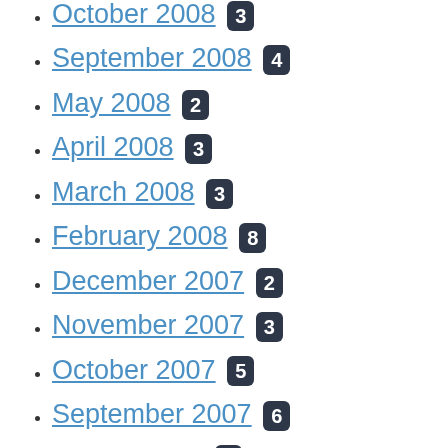October 2008 3
September 2008 4
May 2008 2
April 2008 3
March 2008 3
February 2008 8
December 2007 2
November 2007 3
October 2007 5
September 2007 6
August 2007 4
July 2007 1
May 2007 1
April 2007 6
March 2007 3
February 2007 6
November 2006 2
October 2006 1
September 2006 2